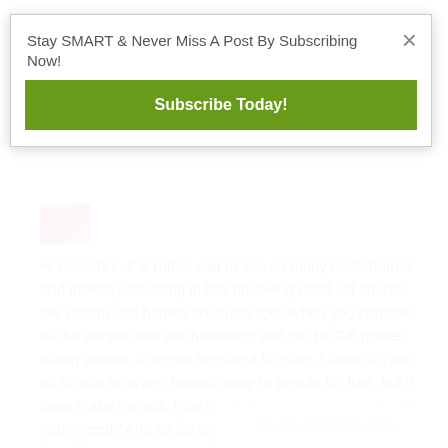Stay SMART & Never Miss A Post By Subscribing Now!
Subscribe Today!
[Figure (photo): Small avatar photo thumbnail showing a person, partially visible at top of comment section]
Hi Lisa! Yes, it is rather sad to see so many motorhomes and trailers just sitting in lots not being used. Of course, the vacant 2nd homes are crazy too. When you consider all the people who are homeless and the HUGE homes sitting vacant, it seems lop-sided for sure. I know it’s not as simple as giving homes away to people for free, but it does make me ask, how much does one person or family really need? And as far as which is worse, from what I’ve heard boats
Privacy & Cookies Policy
×